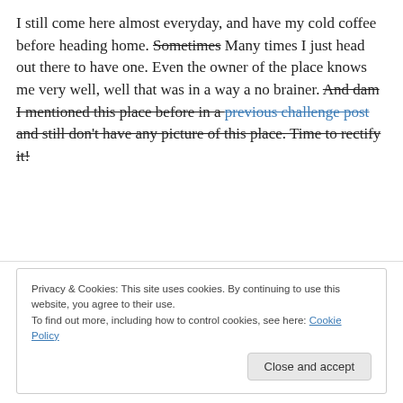I still come here almost everyday, and have my cold coffee before heading home. Sometimes [strikethrough] Many times I just head out there to have one. Even the owner of the place knows me very well, well that was in a way a no brainer. And dam I mentioned this place before in a [strikethrough] previous challenge post [link, strikethrough] and still don't have any picture of this place. Time to rectify it! [all strikethrough from 'And dam...']
Privacy & Cookies: This site uses cookies. By continuing to use this website, you agree to their use.
To find out more, including how to control cookies, see here: Cookie Policy